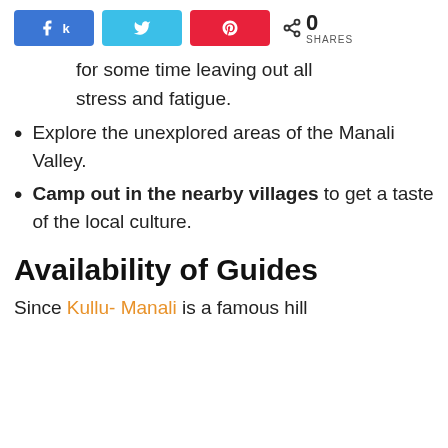[Figure (other): Social share buttons row: Facebook (blue), Twitter (light blue), Pinterest (red), and a share count showing 0 SHARES]
for some time leaving out all stress and fatigue.
Explore the unexplored areas of the Manali Valley.
Camp out in the nearby villages to get a taste of the local culture.
Availability of Guides
Since Kullu- Manali is a famous hill